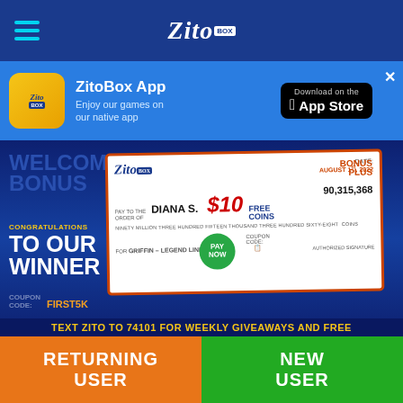ZitoBox navigation bar with hamburger menu and logo
[Figure (screenshot): ZitoBox app promotional banner with app icon, 'ZitoBox App' title, 'Enjoy our games on our native app' description, and App Store download button]
[Figure (infographic): Hero promotional banner showing 'WELCOME BONUS PLUS' and 'CONGRATULATIONS TO OUR WINNER' text, a mock check made out to DIANA S. for 90,315,368 free coins dated August 1st 2022, for Griffin-Legend Link game, with coupon code FIRST5K, and text strip 'TEXT ZITO TO 74101 FOR WEEKLY GIVEAWAYS AND FREE']
[Figure (photo): Game thumbnail showing a wildebeest/gnu against a blue sky background]
[Figure (photo): Game thumbnail showing a cartoon duck with goggles in a pool/water setting]
RETURNING USER
NEW USER